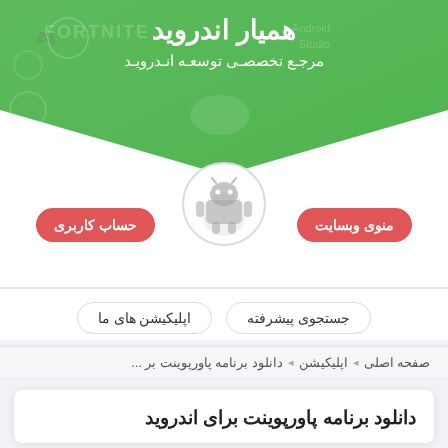همیار اندروید
مرجـع تخصصـی توسعـه انـدرویـد
[Figure (logo): Android mascot avatar in a white circle, centered below green header banner]
حساب کاربری
منوی وبسایت
جستجوی پیشرفته
اپلیکیشن های ما
صفحه اصلی ◄ اپلیکیشن ◄ دانلود برنامه پاورپوینت بر ...
دانلود برنامه پاورپوینت برای اندروید